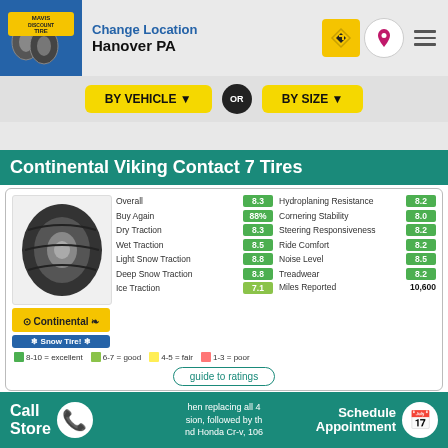Mavis Discount Tire — Change Location — Hanover PA
BY VEHICLE ▼  OR  BY SIZE ▼
Continental Viking Contact 7 Tires
| Category | Score |
| --- | --- |
| Overall | 8.3 |
| Buy Again | 88% |
| Dry Traction | 8.3 |
| Wet Traction | 8.5 |
| Light Snow Traction | 8.8 |
| Deep Snow Traction | 8.8 |
| Ice Traction | 7.1 |
| Hydroplaning Resistance | 8.2 |
| Cornering Stability | 8.0 |
| Steering Responsiveness | 8.2 |
| Ride Comfort | 8.2 |
| Noise Level | 8.5 |
| Treadwear | 8.2 |
| Miles Reported | 10,600 |
8-10 = excellent   6-7 = good   4-5 = fair   1-3 = poor
guide to ratings
Mavis Discount Tire offers Continental Viking Contact 7 tires in 90
When replacing all 4 sion, followed by th nd Honda Cr-v, 106
Call Store  Schedule Appointment